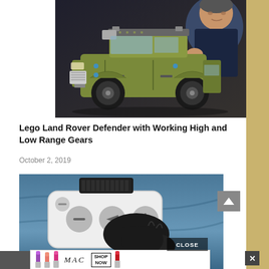[Figure (photo): A man in dark clothing examining a LEGO Technic Land Rover Defender model (olive/army green color) placed on a dark surface. The LEGO model is large and detailed with black wheels and roof rack accessories.]
Lego Land Rover Defender with Working High and Low Range Gears
October 2, 2019
[Figure (photo): Close-up of a wrist-worn device with a white rectangular controller/remote featuring multiple circular buttons (minus, directional, minus, plus), strapped with velcro to a blue sleeve with a gloved hand visible.]
CLOSE
[Figure (photo): MAC Cosmetics advertisement banner showing lipsticks (purple, coral/pink, hot pink, red) on the left, MAC logo in italic serif text in the center, and a SHOP NOW button on the right.]